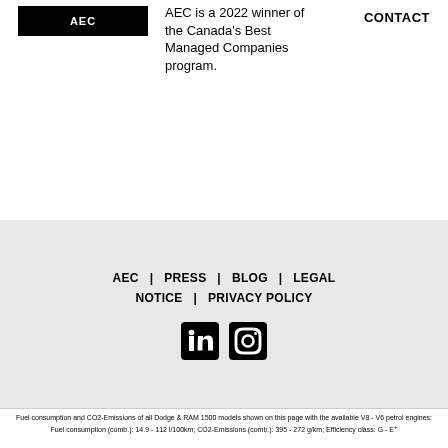[Figure (logo): AEC logo - black bar with white text]
AEC is a 2022 winner of the Canada's Best Managed Companies program.
CONTACT
AEC | PRESS | BLOG | LEGAL NOTICE | PRIVACY POLICY
[Figure (illustration): LinkedIn and Instagram social media icons]
Fuel consumption and CO2-Emissions of all Dodge & RAM 1500 models shown on this page with the available V8 - V6 petrol engines: Fuel consumption (comb.): 14.9 - 112 l/100km; CO2-Emissions (comb.): 395 - 272 g/km; Efficiency class: G - E+